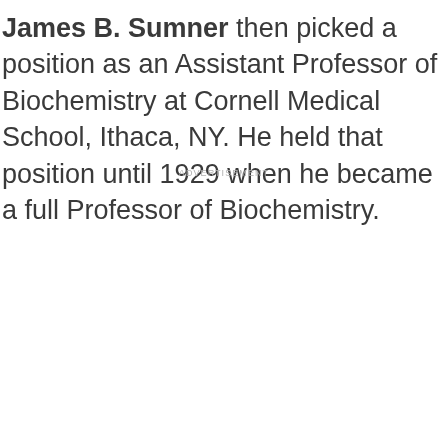James B. Sumner then picked a position as an Assistant Professor of Biochemistry at Cornell Medical School, Ithaca, NY. He held that position until 1929 when he became a full Professor of Biochemistry.
ADVERTISEMENT